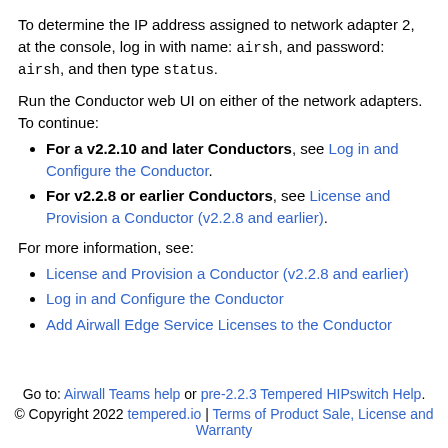To determine the IP address assigned to network adapter 2, at the console, log in with name: airsh, and password: airsh, and then type status.
Run the Conductor web UI on either of the network adapters. To continue:
For a v2.2.10 and later Conductors, see Log in and Configure the Conductor.
For v2.2.8 or earlier Conductors, see License and Provision a Conductor (v2.2.8 and earlier).
For more information, see:
License and Provision a Conductor (v2.2.8 and earlier)
Log in and Configure the Conductor
Add Airwall Edge Service Licenses to the Conductor
Go to: Airwall Teams help or pre-2.2.3 Tempered HIPswitch Help. © Copyright 2022 tempered.io | Terms of Product Sale, License and Warranty